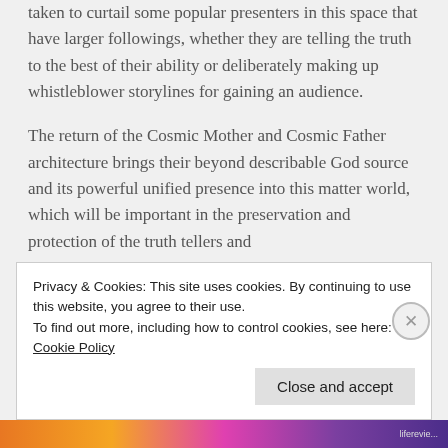taken to curtail some popular presenters in this space that have larger followings, whether they are telling the truth to the best of their ability or deliberately making up whistleblower storylines for gaining an audience.
The return of the Cosmic Mother and Cosmic Father architecture brings their beyond describable God source and its powerful unified presence into this matter world, which will be important in the preservation and protection of the truth tellers and
Privacy & Cookies: This site uses cookies. By continuing to use this website, you agree to their use.
To find out more, including how to control cookies, see here: Cookie Policy
Close and accept